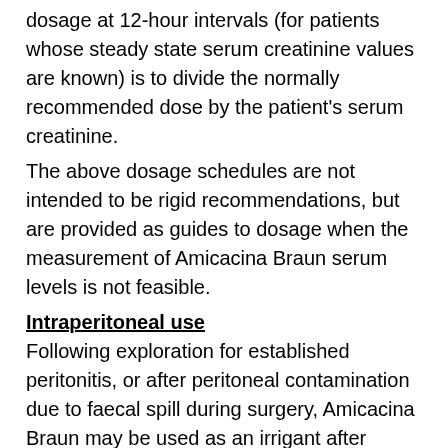dosage at 12-hour intervals (for patients whose steady state serum creatinine values are known) is to divide the normally recommended dose by the patient's serum creatinine.
The above dosage schedules are not intended to be rigid recommendations, but are provided as guides to dosage when the measurement of Amicacina Braun serum levels is not feasible.
Intraperitoneal use
Following exploration for established peritonitis, or after peritoneal contamination due to faecal spill during surgery, Amicacina Braun may be used as an irrigant after recovery from anaesthesia in concentrations of 0.25% (2.5 mg/ml). The intraperitoneal use of Amicacina Braun is not recommended in young children.